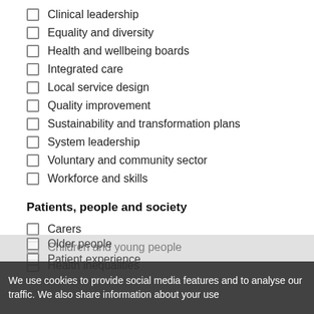Clinical leadership
Equality and diversity
Health and wellbeing boards
Integrated care
Local service design
Quality improvement
Sustainability and transformation plans
System leadership
Voluntary and community sector
Workforce and skills
Patients, people and society
Carers
Children and young people
Health inequalities
Older people
Patient experience
We use cookies to provide social media features and to analyse our traffic. We also share information about your use